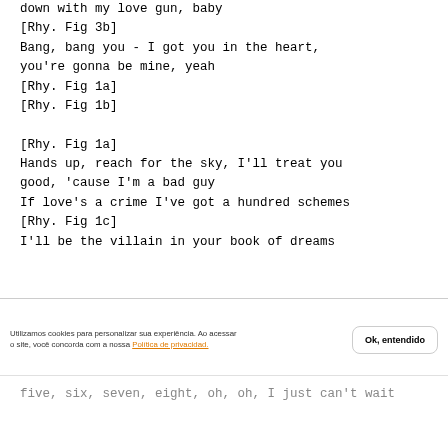down with my love gun, baby
[Rhy. Fig 3b]
Bang, bang you - I got you in the heart,
you're gonna be mine, yeah
[Rhy. Fig 1a]
[Rhy. Fig 1b]

[Rhy. Fig 1a]
Hands up, reach for the sky, I'll treat you
good, 'cause I'm a bad guy
If love's a crime I've got a hundred schemes
[Rhy. Fig 1c]
I'll be the villain in your book of dreams
Utilizamos cookies para personalizar sua experiência. Ao acessar o site, você concorda com a nossa Política de privacidad.
five, six, seven, eight, oh, oh, I just
can't wait